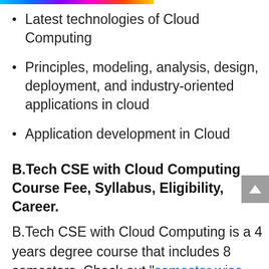[Figure (other): Rainbow gradient horizontal bar at top of page]
Latest technologies of Cloud Computing
Principles, modeling, analysis, design, deployment, and industry-oriented applications in cloud
Application development in Cloud
B.Tech CSE with Cloud Computing Course Fee, Syllabus, Eligibility, Career.
B.Tech CSE with Cloud Computing is a 4 years degree course that includes 8 semesters. Check out “semester wise